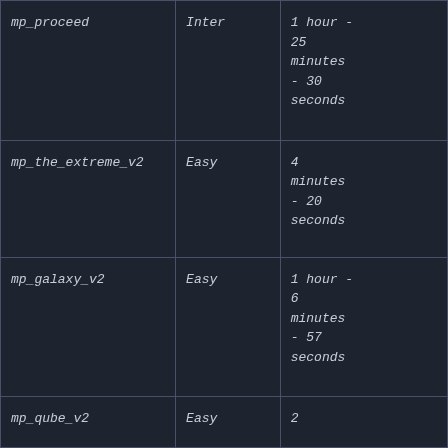| mp_proceed | Inter | 1 hour - 25 minutes - 30 seconds |
| mp_the_extreme_v2 | Easy | 4 minutes - 20 seconds |
| mp_galaxy_v2 | Easy | 1 hour - 6 minutes - 57 seconds |
| mp_qube_v2 | Easy | 2 |